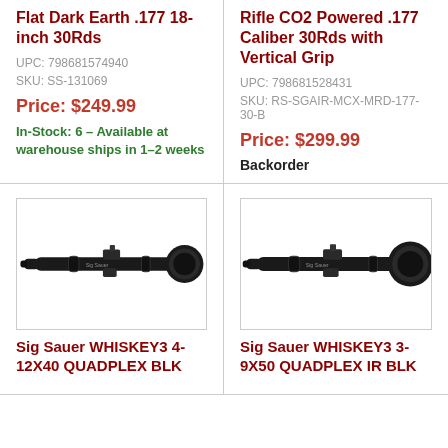Flat Dark Earth .177 18-inch 30Rds
UPC: 798681574940
SKU: SS-131069
Price: $249.99
In-Stock: 6 – Available at warehouse ships in 1-2 weeks
Rifle CO2 Powered .177 Caliber 30Rds with Vertical Grip
UPC: 798681528431
SKU: RS-SGAIR-MCX-MRD-177-30-B
Price: $299.99
Backorder
[Figure (photo): Sig Sauer WHISKEY3 4-12X40 QUADPLEX BLK rifle scope, black, left-facing]
[Figure (photo): Sig Sauer WHISKEY3 3-9X50 QUADPLEX IR BLK rifle scope, black, left-facing]
Sig Sauer WHISKEY3 4-12X40 QUADPLEX BLK
Sig Sauer WHISKEY3 3-9X50 QUADPLEX IR BLK